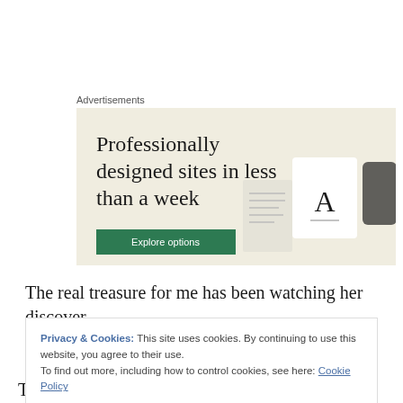Advertisements
[Figure (screenshot): Advertisement banner showing 'Professionally designed sites in less than a week' with an Explore options button on a beige background, with device mockup images on the right side.]
The real treasure for me has been watching her discover
Privacy & Cookies: This site uses cookies. By continuing to use this website, you agree to their use.
To find out more, including how to control cookies, see here: Cookie Policy
Close and accept
This post is a response to the Weekly Photo Challenge: